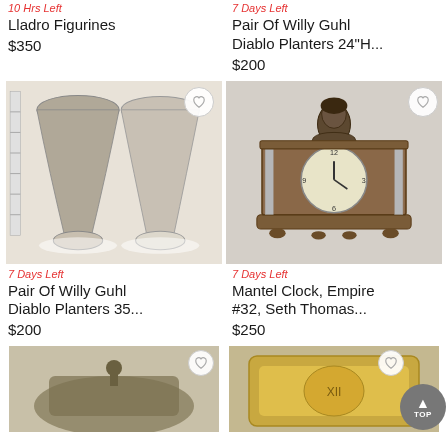10 Hrs Left
7 Days Left
Lladro Figurines
Pair Of Willy Guhl Diablo Planters 24"H...
$350
$200
[Figure (photo): Pair of Willy Guhl Diablo Planters 35 inch, shown as two hourglass-shaped concrete planters on a white background]
[Figure (photo): Mantel Clock, Empire #32, Seth Thomas, ornate bronze clock with glass pillars and a bust figure on top]
7 Days Left
7 Days Left
Pair Of Willy Guhl Diablo Planters 35...
Mantel Clock, Empire #32, Seth Thomas...
$200
$250
[Figure (photo): Partially visible photo of an antique item (bottom row left)]
[Figure (photo): Partially visible photo of an ornate gilded clock or decorative item (bottom row right)]